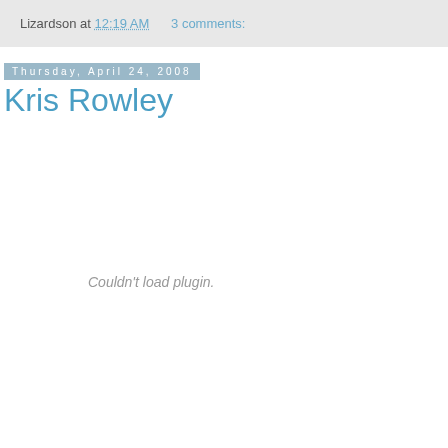Lizardson at 12:19 AM    3 comments:
Thursday, April 24, 2008
Kris Rowley
Couldn't load plugin.